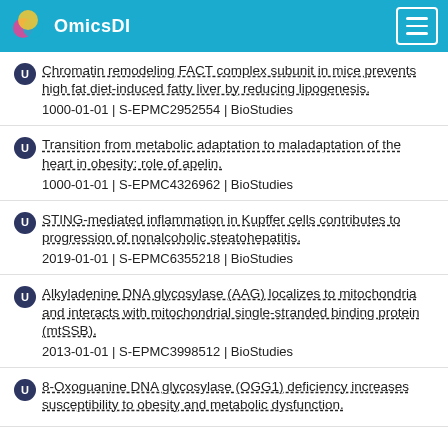OmicsDI
Chromatin remodeling FACT complex subunit in mice prevents high fat diet-induced fatty liver by reducing lipogenesis.
1000-01-01 | S-EPMC2952554 | BioStudies
Transition from metabolic adaptation to maladaptation of the heart in obesity: role of apelin.
1000-01-01 | S-EPMC4326962 | BioStudies
STING-mediated inflammation in Kupffer cells contributes to progression of nonalcoholic steatohepatitis.
2019-01-01 | S-EPMC6355218 | BioStudies
Alkyladenine DNA glycosylase (AAG) localizes to mitochondria and interacts with mitochondrial single-stranded binding protein (mtSSB).
2013-01-01 | S-EPMC3998512 | BioStudies
8-Oxoguanine DNA glycosylase (OGG1) deficiency increases susceptibility to obesity and metabolic dysfunction.